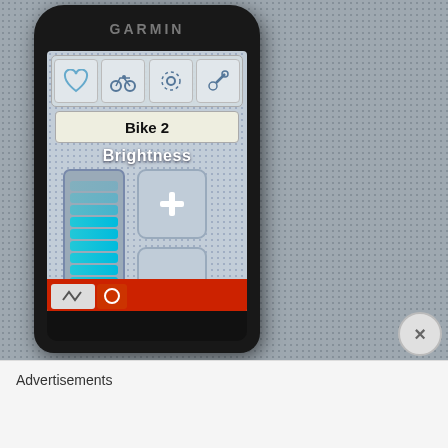[Figure (photo): A Garmin GPS cycling computer device photographed on a grey carpet/fabric background. The device screen shows a brightness adjustment menu with 'Bike 2' profile selected, a brightness bar indicator mostly full, and plus/minus buttons. The GARMIN logo is visible at the top of the device.]
Advertisements